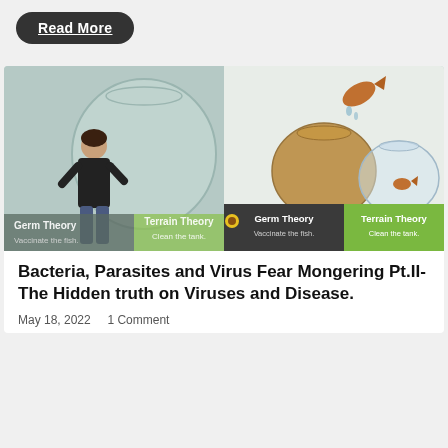Read More
[Figure (photo): A woman presenter standing in front of a projected slide showing Germ Theory vs Terrain Theory with fish bowls illustration. The slide has two panels: 'Germ Theory - Vaccinate the fish.' (dark background) and 'Terrain Theory - Clean the tank.' (green background). A goldfish is shown jumping above two fish bowls.]
Bacteria, Parasites and Virus Fear Mongering Pt.II- The Hidden truth on Viruses and Disease.
May 18, 2022     1 Comment